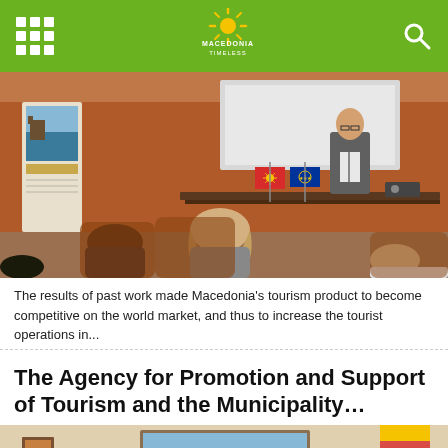Macedonia Timeless
[Figure (photo): A conference or tourism presentation room. A bald man in a suit stands at a table at the front with Macedonian and EU flags visible. Several attendees are seated with their backs to the camera. A tourism banner visible on the left.]
The results of past work made Macedonia's tourism product to become competitive on the world market, and thus to increase the tourist operations in...
The Agency for Promotion and Support of Tourism and the Municipality…
[Figure (photo): Interior room with a painting on the wall showing a green forest scene, and a flag visible on the right side. Part of a person visible at the bottom.]